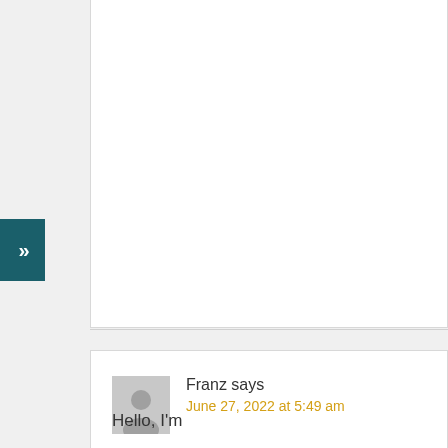always do at some point, sooner or later… Most times sooner.

Thank you again Lionel!

/Best
Reply
Franz says
June 27, 2022 at 5:49 am
Hello, I'm